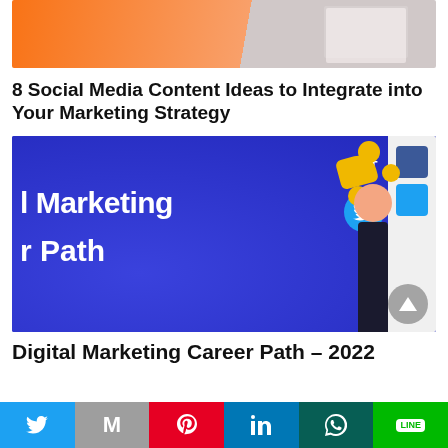[Figure (photo): Top banner image with orange background showing partial view of a screen/laptop]
8 Social Media Content Ideas to Integrate into Your Marketing Strategy
[Figure (photo): Blue banner image with white text 'l Marketing' and 'r Path', a figure holding a megaphone with social media icons (Facebook f, Twitter bird), and yellow coins]
Digital Marketing Career Path – 2022
[Figure (infographic): Social sharing bar with Twitter, Gmail, Pinterest, LinkedIn, WhatsApp, and LINE buttons]